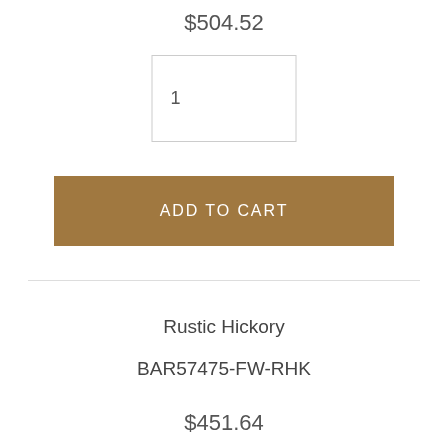$504.52
[Figure (other): Quantity input box showing the number 1]
ADD TO CART
Rustic Hickory
BAR57475-FW-RHK
$451.64